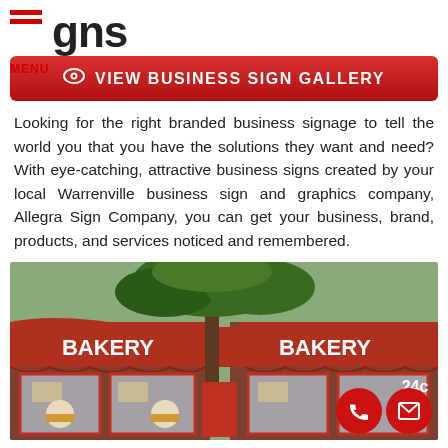gns MENU
VIEW BUSINESS SIGN GALLERY
Looking for the right branded business signage to tell the world you that you have the solutions they want and need? With eye-catching, attractive business signs created by your local Warrenville business sign and graphics company, Allegra Sign Company, you can get your business, brand, products, and services noticed and remembered.
[Figure (photo): Street-level photo of a bakery storefront with red awnings displaying 'BAKERY' text in white, with a tree in the foreground and shop windows visible below.]